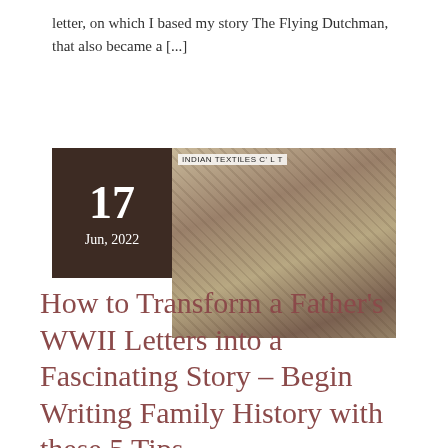letter, on which I based my story The Flying Dutchman, that also became a [...]
[Figure (photo): Photo of a pile of old letters, envelopes and documents. A label reading 'INDIAN TEXTILES C L T' is visible at the top.]
How to Transform a Father’s WWII Letters into a Fascinating Story – Begin Writing Family History with these 5 Tips